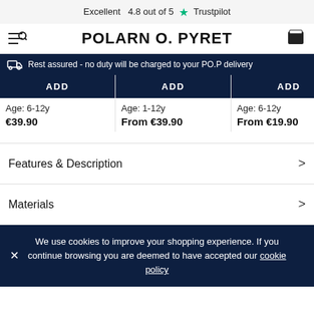Excellent 4.8 out of 5 ★ Trustpilot
POLARN O. PYRET
Rest assured - no duty will be charged to your PO.P delivery
ADD | Age: 6-12y | €39.90
ADD | Age: 1-12y | From €39.90
ADD | Age: 6-12y | From €19.90
ADD | Age: (partial)
Features & Description
Materials
We use cookies to improve your shopping experience. If you continue browsing you are deemed to have accepted our cookie policy